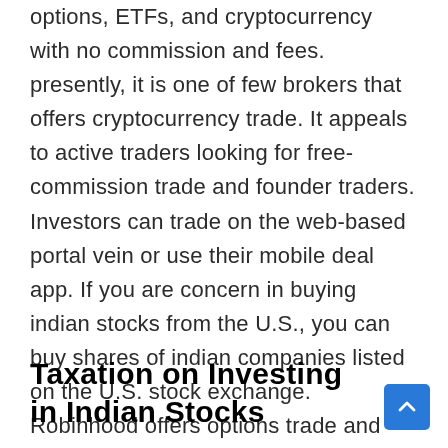options, ETFs, and cryptocurrency with no commission and fees. presently, it is one of few brokers that offers cryptocurrency trade. It appeals to active traders looking for free-commission trade and founder traders. Investors can trade on the web-based portal vein or use their mobile deal app. If you are concern in buying indian stocks from the U.S., you can buy shares of indian companies listed on the U.S. stock exchange. Robinhood offers options trade and access to over 650 ball-shaped stocks through american Depositary Receipts ( ADRs ) .
Taxation on Investing in Indian Stocks